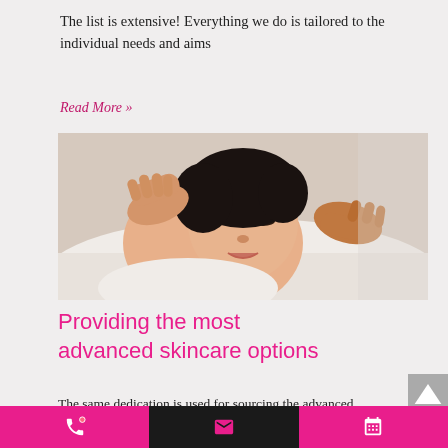The list is extensive! Everything we do is tailored to the individual needs and aims
Read More »
[Figure (photo): A woman lying down with eyes closed receiving a facial massage from a therapist's hands.]
Providing the most advanced skincare options
The same dedication is used for sourcing the advanced technology, equipment and procedures we use
Phone | Email | Calendar